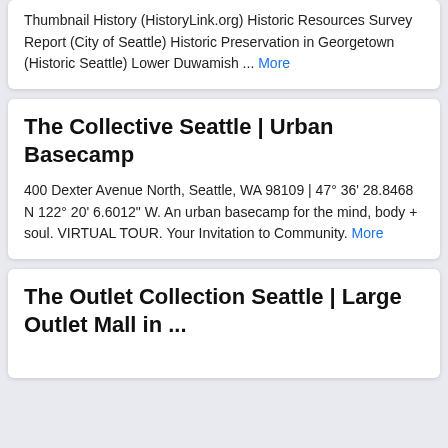Thumbnail History (HistoryLink.org) Historic Resources Survey Report (City of Seattle) Historic Preservation in Georgetown (Historic Seattle) Lower Duwamish ... More
The Collective Seattle | Urban Basecamp
400 Dexter Avenue North, Seattle, WA 98109 | 47° 36' 28.8468 N 122° 20' 6.6012" W. An urban basecamp for the mind, body + soul. VIRTUAL TOUR. Your Invitation to Community. More
The Outlet Collection Seattle | Large Outlet Mall in ...